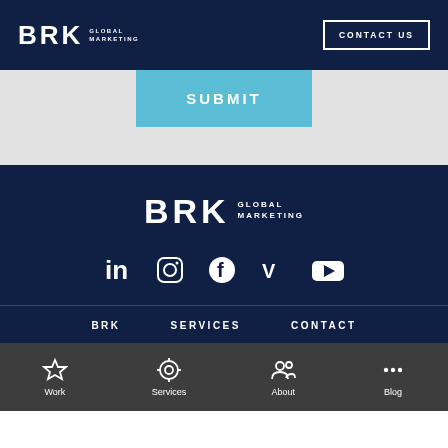BRK GLOBAL MARKETING | CONTACT US
SUBMIT
[Figure (logo): BRK Global Marketing logo centered in dark navy footer]
[Figure (infographic): Social media icons: LinkedIn, Instagram, Facebook, Vimeo, YouTube]
BRK   SERVICES   CONTACT
Work
Services
About
Blog